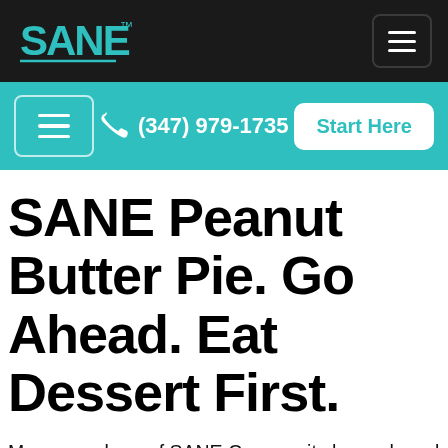SANE logo and navigation menu
(347) 979-1735  Start Here
SANE Peanut Butter Pie. Go Ahead. Eat Dessert First.
Many members of SANE Community have shared all sorts of delicious ways to enjoy plain Greek yogurt. One way that I recently discovered involves using plain Greek